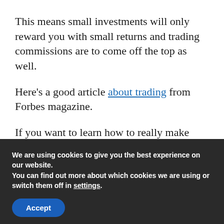This means small investments will only reward you with small returns and trading commissions are to come off the top as well.
Here's a good article about trading from Forbes magazine.
If you want to learn how to really make money online with no risk and very little investment.
We are using cookies to give you the best experience on our website.
You can find out more about which cookies we are using or switch them off in settings.
Accept